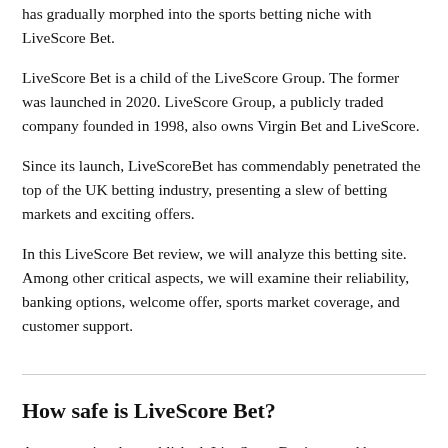has gradually morphed into the sports betting niche with LiveScore Bet.
LiveScore Bet is a child of the LiveScore Group. The former was launched in 2020. LiveScore Group, a publicly traded company founded in 1998, also owns Virgin Bet and LiveScore.
Since its launch, LiveScoreBet has commendably penetrated the top of the UK betting industry, presenting a slew of betting markets and exciting offers.
In this LiveScore Bet review, we will analyze this betting site. Among other critical aspects, we will examine their reliability, banking options, welcome offer, sports market coverage, and customer support.
How safe is LiveScore Bet?
As we previously established, LiveScore Bet is owned by LiveScore Group. With over 20 years in operation and a